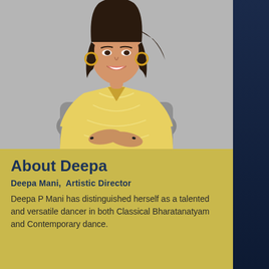[Figure (photo): A woman seated in a chair, smiling, wearing a yellow embroidered kurta, with dark hair, hoop earrings, and dark nail polish. The background is grey.]
About Deepa
Deepa Mani, Artistic Director
Deepa P Mani has distinguished herself as a talented and versatile dancer in both Classical Bharatanatyam and Contemporary dance.